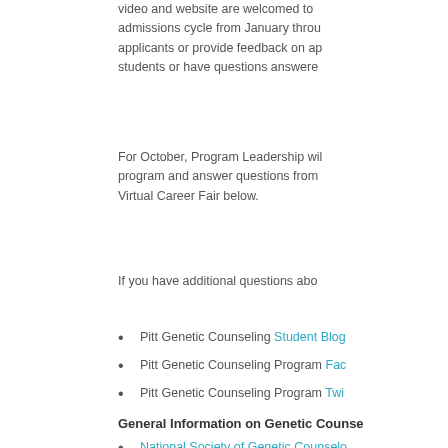video and website are welcomed to admissions cycle from January throu applicants or provide feedback on ap students or have questions answere
For October, Program Leadership wil program and answer questions from Virtual Career Fair below.
If you have additional questions abo
Pitt Genetic Counseling Student Blog
Pitt Genetic Counseling Program Fac
Pitt Genetic Counseling Program Twi
General Information on Genetic Counse
National Society of Genetic Counselo